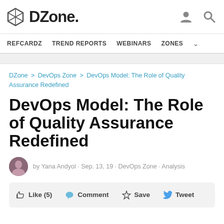DZone.
REFCARDZ   TREND REPORTS   WEBINARS   ZONES
DZone > DevOps Zone > DevOps Model: The Role of Quality Assurance Redefined
DevOps Model: The Role of Quality Assurance Redefined
by Yana Andyol · Sep. 13, 19 · DevOps Zone · Analysis
Like (5)   Comment   Save   Tweet